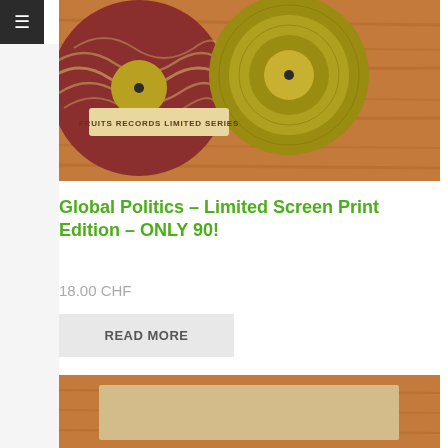[Figure (photo): Photo of vinyl records with red and gold color scheme, with a label reading FRUITS RECORDS LIMITED SERIES, placed on a wooden surface]
Global Politics – Limited Screen Print Edition – ONLY 90!
18.00 CHF
READ MORE
[Figure (photo): Partial photo of a wooden framed item with a light beige/parchment colored center, on a wood surface]